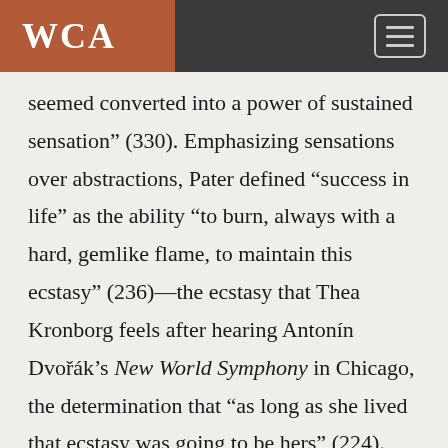WCA
seemed converted into a power of sustained sensation” (330). Emphasizing sensations over abstractions, Pater defined “success in life” as the ability “to burn, always with a hard, gemlike flame, to maintain this ecstasy” (236)—the ecstasy that Thea Kronborg feels after hearing Antonín Dvořák’s New World Symphony in Chicago, the determination that “as long as she lived that ecstasy was going to be hers” (224). From its beginnings, Lehan says, “Modernism created two contexts: the literary-aesthetic and the social-political. The major modernists for the most part